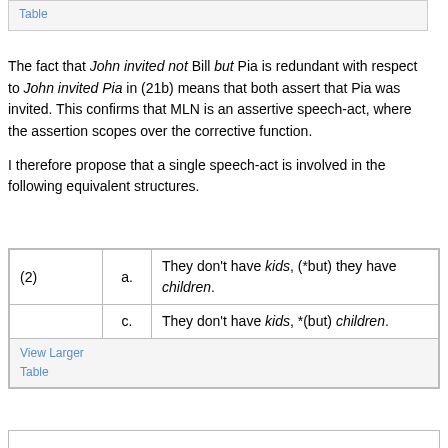Table
The fact that John invited not Bill but Pia is redundant with respect to John invited Pia in (21b) means that both assert that Pia was invited. This confirms that MLN is an assertive speech-act, where the assertion scopes over the corrective function.
I therefore propose that a single speech-act is involved in the following equivalent structures.
| (2) | a. | They don’t have kids, (*but) they have children. |
|  | c. | They don’t have kids, *(but) children. |
View Larger
Table